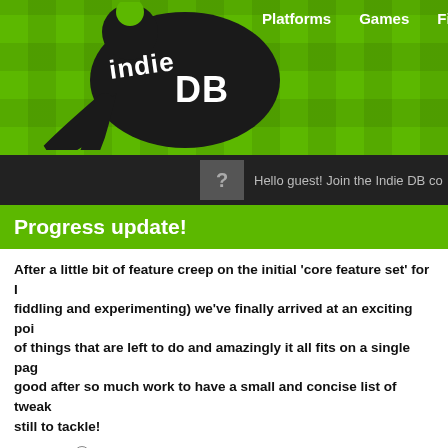[Figure (logo): IndieDB website header with green background, IndieDB logo on left, navigation links Platforms, Games, Files, Me on right, dark bar below with guest login prompt]
Progress update!
After a little bit of feature creep on the initial 'core feature set' for I... fiddling and experimenting) we've finally arrived at an exciting poi... of things that are left to do and amazingly it all fits on a single pag... good after so much work to have a small and concise list of tweak... still to tackle!
Posted by Ionising on Mar 20th, 2013
First off my apologies for not updating in a few weeks, things have been busy... Isomer ever closer to alpha. It has always been my intention to get the core fe... hitting alpha, the last thing I wanted was to ship an incomplete fraction of the g... Extra content and polish can come later during alpha, but the game has to be
Unfortunately it turns out that getting the 'core features' done represented abo... which is way greater than I predicted at the start and that has slowed things d...